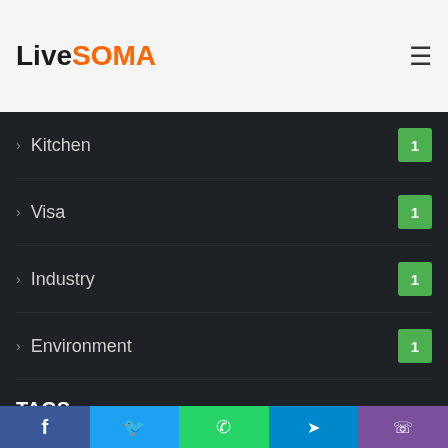LiveSOMA
Kitchen 1
Visa 1
Industry 1
Environment 1
TAGS
access, attention, boost, compare, converts, eventually, everybody's, exclusively, expenses, feeling, good, Gout, occurs, odds, physician, things, understand, vulnerable
Facebook, Twitter, WhatsApp, Telegram, Viber